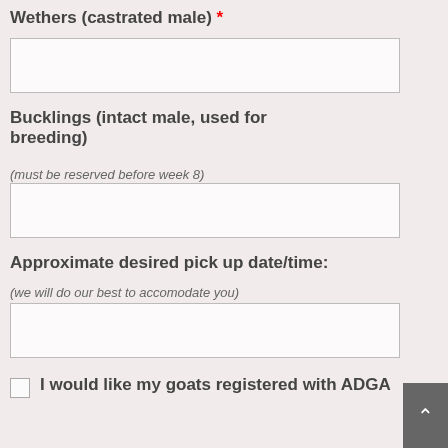Wethers (castrated male) *
(input box for wethers)
Bucklings (intact male, used for breeding)
(must be reserved before week 8)
(input box for bucklings)
Approximate desired pick up date/time:
(we will do our best to accomodate you)
(input box for date/time)
I would like my goats registered with ADGA